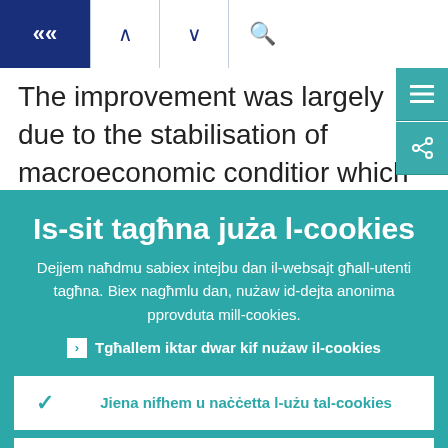« ∧ ∨ 🔍
The improvement was largely due to the stabilisation of macroeconomic conditions which reduced credit losses; impairments
Is-sit tagħna juża l-cookies
Dejjem naħdmu sabiex intejbu dan il-websajt għall-utenti tagħna. Biex nagħmlu dan, nużaw id-dejta anonima pprovduta mill-cookies.
› Tgħallem iktar dwar kif nużaw il-cookies
✓ Jiena nifhem u naċċetta l-użu tal-cookies
✗ Jiena ma naċċettax l-użu tal-cookies